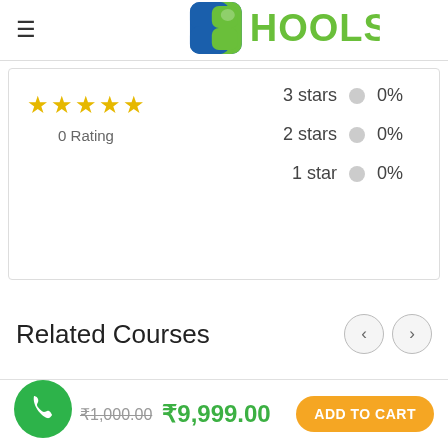[Figure (logo): Schools logo with green S icon and blue square, text HOOLS in green]
| ☆☆☆☆☆ | 3 stars | ● | 0% |
| 0 Rating | 2 stars | ● | 0% |
|  | 1 star | ● | 0% |
Related Courses
₹1,000.00  ₹9,999.00
ADD TO CART